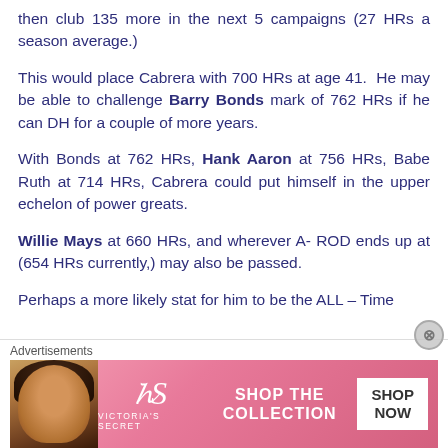then club 135 more in the next 5 campaigns (27 HRs a season average.)
This would place Cabrera with 700 HRs at age 41. He may be able to challenge Barry Bonds mark of 762 HRs if he can DH for a couple of more years.
With Bonds at 762 HRs, Hank Aaron at 756 HRs, Babe Ruth at 714 HRs, Cabrera could put himself in the upper echelon of power greats.
Willie Mays at 660 HRs, and wherever A- ROD ends up at (654 HRs currently,) may also be passed.
Perhaps a more likely stat for him to be the ALL – Time
Advertisements
[Figure (photo): Victoria's Secret advertisement banner with a model and 'SHOP THE COLLECTION / SHOP NOW' text]